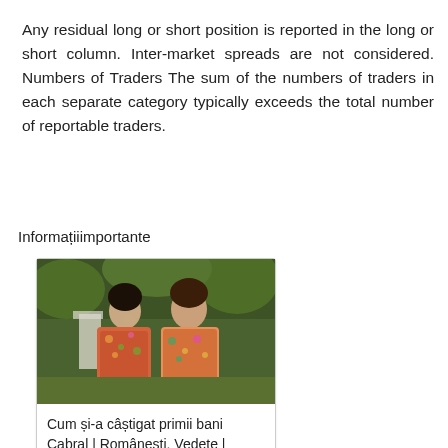Any residual long or short position is reported in the long or short column. Inter-market spreads are not considered. Numbers of Traders The sum of the numbers of traders in each separate category typically exceeds the total number of reportable traders.
Informațiiimportante
[Figure (photo): Photo of two women in floral dresses outdoors with greenery in background]
Cum și-a câștigat primii bani Cabral | Românești, Vedete | caiiverzi.ro